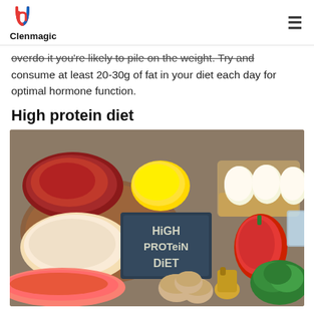Clenmagic
overdo it you're likely to pile on the weight. Try and consume at least 20-30g of fat in your diet each day for optimal hormone function.
High protein diet
[Figure (photo): Overhead view of high-protein foods including raw beef, chicken breast, salmon, eggs in a basket, lemon, mushrooms, red bell pepper, broccoli, a glass of water, and a bottle of oil, arranged around a chalkboard sign reading 'HIGH PROTEIN DIET']